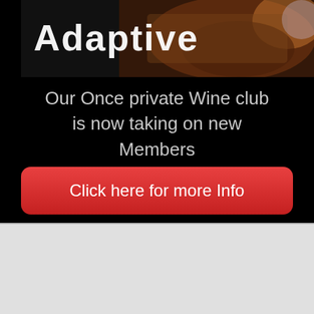[Figure (screenshot): Dark banner with partial 'Adaptive' text in white at top, with wine basket background image]
Our Once private Wine club is now taking on new Members
Click here for more Info
INFORMATION
[Figure (illustration): Red paint roller with red paint streak on white background]